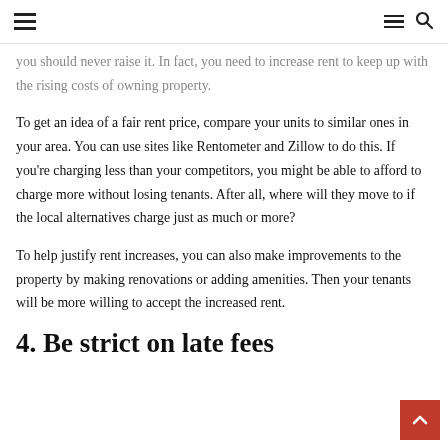[navigation bar with hamburger menu, menu icon, and search icon]
you should never raise it. In fact, you need to increase rent to keep up with the rising costs of owning property.
To get an idea of a fair rent price, compare your units to similar ones in your area. You can use sites like Rentometer and Zillow to do this. If you're charging less than your competitors, you might be able to afford to charge more without losing tenants. After all, where will they move to if the local alternatives charge just as much or more?
To help justify rent increases, you can also make improvements to the property by making renovations or adding amenities. Then your tenants will be more willing to accept the increased rent.
4. Be strict on late fees